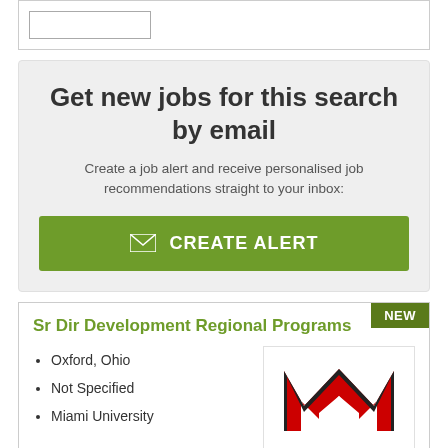Get new jobs for this search by email
Create a job alert and receive personalised job recommendations straight to your inbox:
CREATE ALERT
Sr Dir Development Regional Programs
Oxford, Ohio
Not Specified
Miami University
[Figure (logo): Miami University logo with red letter M]
This position will advance the